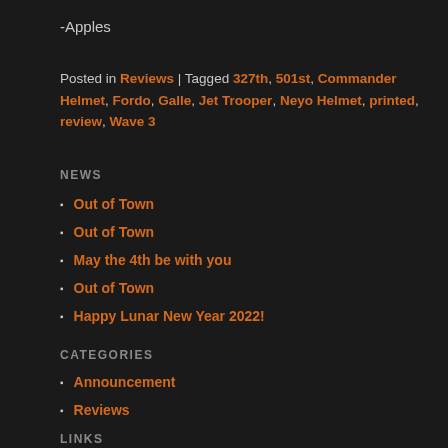-Apples
Posted in Reviews | Tagged 327th, 501st, Commander Helmet, Fordo, Galle, Jet Trooper, Neyo Helmet, printed, review, Wave 3
NEWS
Out of Town
Out of Town
May the 4th be with you
Out of Town
Happy Lunar New Year 2022!
CATEGORIES
Announcement
Reviews
LINKS